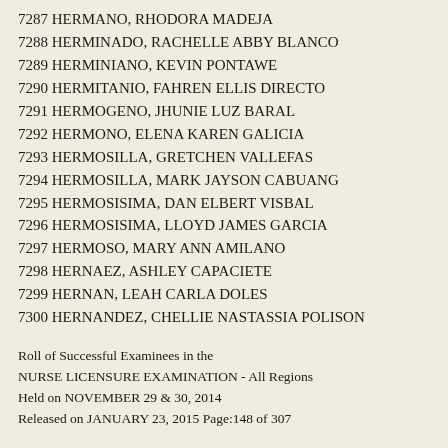7287 HERMANO, RHODORA MADEJA
7288 HERMINADO, RACHELLE ABBY BLANCO
7289 HERMINIANO, KEVIN PONTAWE
7290 HERMITANIO, FAHREN ELLIS DIRECTO
7291 HERMOGENO, JHUNIE LUZ BARAL
7292 HERMONO, ELENA KAREN GALICIA
7293 HERMOSILLA, GRETCHEN VALLEFAS
7294 HERMOSILLA, MARK JAYSON CABUANG
7295 HERMOSISIMA, DAN ELBERT VISBAL
7296 HERMOSISIMA, LLOYD JAMES GARCIA
7297 HERMOSO, MARY ANN AMILANO
7298 HERNAEZ, ASHLEY CAPACIETE
7299 HERNAN, LEAH CARLA DOLES
7300 HERNANDEZ, CHELLIE NASTASSIA POLISON
Roll of Successful Examinees in the NURSE LICENSURE EXAMINATION - All Regions Held on NOVEMBER 29 & 30, 2014 Released on JANUARY 23, 2015 Page:148 of 307